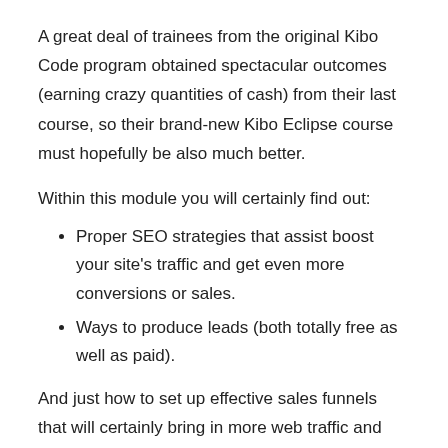A great deal of trainees from the original Kibo Code program obtained spectacular outcomes (earning crazy quantities of cash) from their last course, so their brand-new Kibo Eclipse course must hopefully be also much better.
Within this module you will certainly find out:
Proper SEO strategies that assist boost your site's traffic and get even more conversions or sales.
Ways to produce leads (both totally free as well as paid).
And just how to set up effective sales funnels that will certainly bring in more web traffic and sales for you.
Component 6– Oracle X.
While lots of people like the idea of selling products online, the majority of do not put in the time to really find out exactly how to